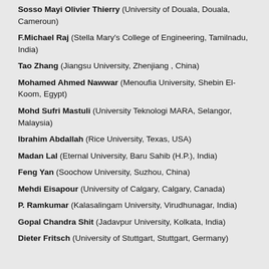Sosso Mayi Olivier Thierry (University of Douala, Douala, Cameroun)
F.Michael Raj (Stella Mary's College of Engineering, Tamilnadu, India)
Tao Zhang (Jiangsu University, Zhenjiang , China)
Mohamed Ahmed Nawwar (Menoufia University, Shebin El-Koom, Egypt)
Mohd Sufri Mastuli (University Teknologi MARA, Selangor, Malaysia)
Ibrahim Abdallah (Rice University, Texas, USA)
Madan Lal (Eternal University, Baru Sahib (H.P.), India)
Feng Yan (Soochow University, Suzhou, China)
Mehdi Eisapour (University of Calgary, Calgary, Canada)
P. Ramkumar (Kalasalingam University, Virudhunagar, India)
Gopal Chandra Shit (Jadavpur University, Kolkata, India)
Dieter Fritsch (University of Stuttgart, Stuttgart, Germany)